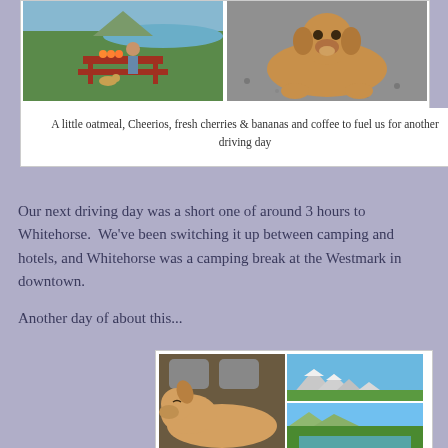[Figure (photo): Two-photo collage: left shows a person sitting at a red picnic table outdoors with mountains and water in background, a small dog underneath; right shows a tan/brown dog lying on gravel]
A little oatmeal, Cheerios, fresh cherries & bananas and coffee to fuel us for another driving day
Our next driving day was a short one of around 3 hours to Whitehorse.  We've been switching it up between camping and hotels, and Whitehorse was a camping break at the Westmark in downtown.
Another day of about this...
[Figure (photo): Three-photo collage: large left photo shows a tan dog sleeping in the back seat of a car; top right shows a mountain with snow-capped peaks against blue sky with green valley; bottom right shows a blue lake or river scene with trees and blue sky]